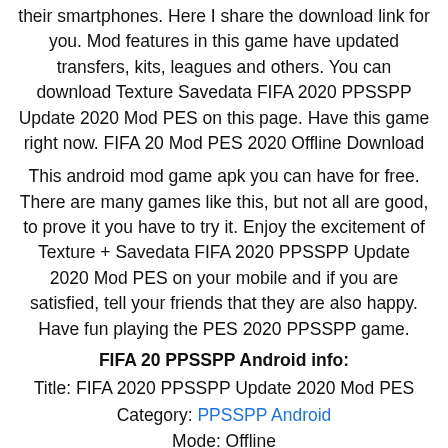their smartphones. Here I share the download link for you. Mod features in this game have updated transfers, kits, leagues and others. You can download Texture Savedata FIFA 2020 PPSSPP Update 2020 Mod PES on this page. Have this game right now. FIFA 20 Mod PES 2020 Offline Download
This android mod game apk you can have for free. There are many games like this, but not all are good, to prove it you have to try it. Enjoy the excitement of Texture + Savedata FIFA 2020 PPSSPP Update 2020 Mod PES on your mobile and if you are satisfied, tell your friends that they are also happy. Have fun playing the PES 2020 PPSSPP game.
FIFA 20 PPSSPP Android info:
Title: FIFA 2020 PPSSPP Update 2020 Mod PES
Category: PPSSPP Android
Mode: Offline